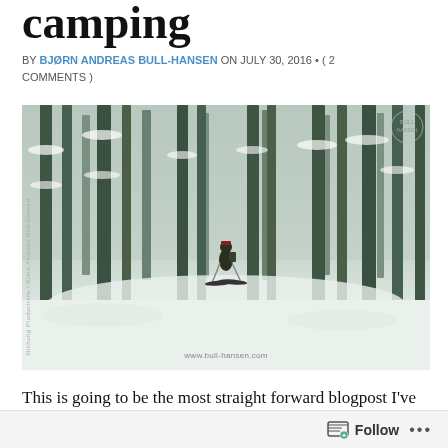camping
BY BJØRN ANDREAS BULL-HANSEN ON JULY 30, 2016 • ( 2 COMMENTS )
[Figure (photo): A person skiing through a snow-covered forest with tall trees, carrying a backpack. Photo watermarked with 'www.bull-hansen.com' and side text 'Nichong Productions / Bjørn Andreas Bull-Hansen'.]
This is going to be the most straight forward blogpost I've ever written. I'm just going to tell you why you should go camping and how to do it. I get this question a lot — people
Follow